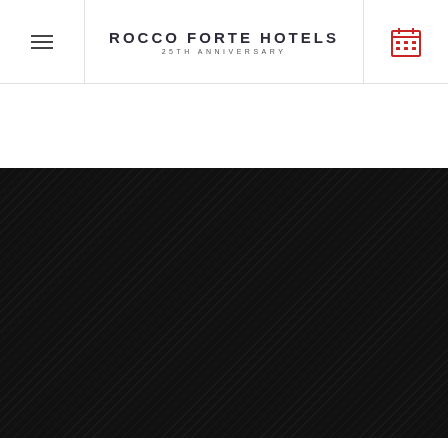Rocco Forte Hotels 25th Anniversary
[Figure (screenshot): Dark diagonal striped background area filling the main content area of a hotel website]
[Figure (other): White empty area below the dark section]